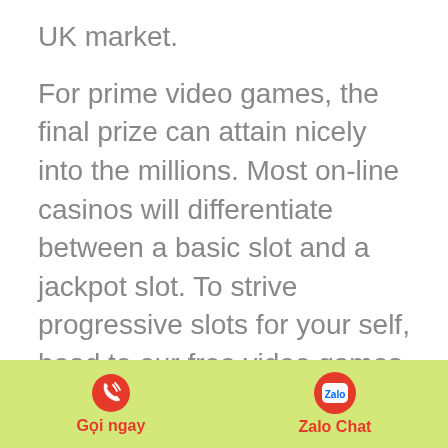UK market.
For prime video games, the final prize can attain nicely into the millions. Most on-line casinos will differentiate between a basic slot and a jackpot slot. To strive progressive slots for your self, head to our free video games part under. However, all courier checks are processed inside 7 days — less than half the time required by most online casinos. You can win actual money on every single one of our on-line slot games! You can even win money on our Roulette and Bingo games!
[Figure (other): Footer bar with green/yellow background containing a phone call button labeled 'Gọi ngay' and a Zalo chat button labeled 'Zalo Chat']